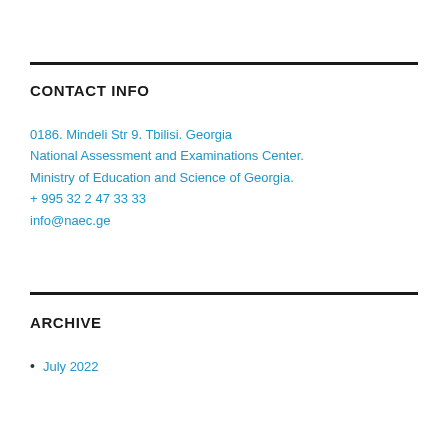CONTACT INFO
0186. Mindeli Str 9. Tbilisi. Georgia
National Assessment and Examinations Center.
Ministry of Education and Science of Georgia.
+ 995 32 2 47 33 33
info@naec.ge
ARCHIVE
July 2022